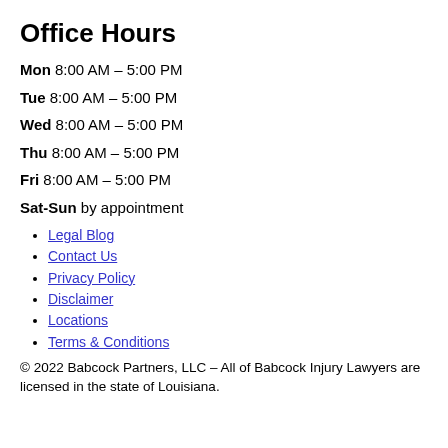Office Hours
Mon 8:00 AM – 5:00 PM
Tue 8:00 AM – 5:00 PM
Wed 8:00 AM – 5:00 PM
Thu 8:00 AM – 5:00 PM
Fri 8:00 AM – 5:00 PM
Sat-Sun by appointment
Legal Blog
Contact Us
Privacy Policy
Disclaimer
Locations
Terms & Conditions
© 2022 Babcock Partners, LLC – All of Babcock Injury Lawyers are licensed in the state of Louisiana.